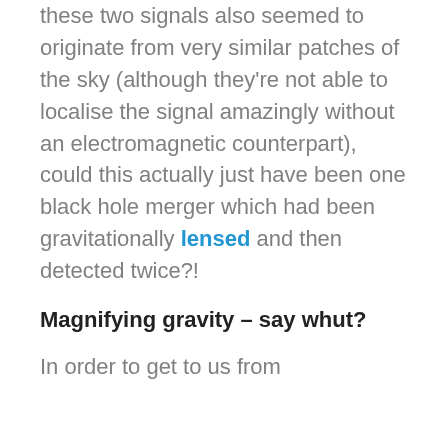these two signals also seemed to originate from very similar patches of the sky (although they're not able to localise the signal amazingly without an electromagnetic counterpart), could this actually just have been one black hole merger which had been gravitationally lensed and then detected twice?!
Magnifying gravity – say whut?
In order to get to us from